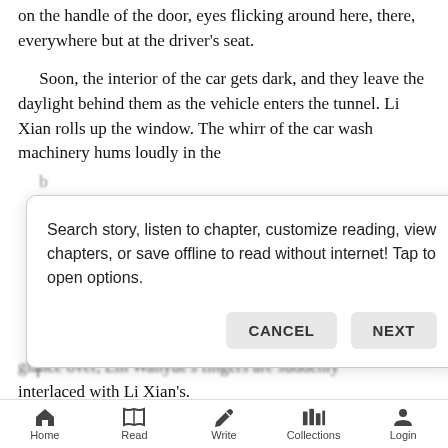on the handle of the door, eyes flicking around here, there, everywhere but at the driver's seat.
Soon, the interior of the car gets dark, and they leave the daylight behind them as the vehicle enters the tunnel. Li Xian rolls up the window. The whirr of the car wash machinery hums loudly in the
[Figure (screenshot): Modal dialog box with text: 'Search story, listen to chapter, customize reading, view chapters, or save offline to read without internet! Tap to open options.' with CANCEL and NEXT buttons.]
glance over, Lin Wanyue's fingers are suddenly interlaced with Li Xian's.
The woman freezes, not having the sense enough to flinch. Her eyes flick upward to Li Xian's,
Home  Read  Write  Collections  Login